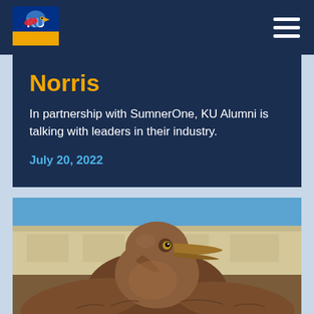[Figure (logo): University of Kansas (KU) Jayhawk logo in top left of navy navigation bar]
Norris
In partnership with SumnerOne, KU Alumni is talking with leaders in their industry.
July 20, 2022
[Figure (photo): Close-up photograph of the bronze Jayhawk statue on the University of Kansas campus, with a limestone building and blue sky visible in the background.]